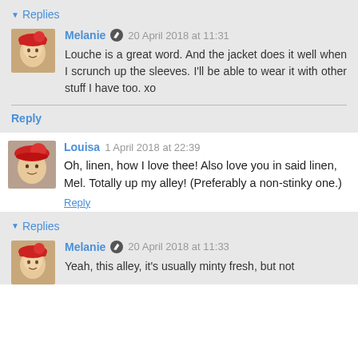▾ Replies
Melanie ✏ 20 April 2018 at 11:31
Louche is a great word. And the jacket does it well when I scrunch up the sleeves. I'll be able to wear it with other stuff I have too. xo
Reply
Louisa  1 April 2018 at 22:39
Oh, linen, how I love thee! Also love you in said linen, Mel. Totally up my alley! (Preferably a non-stinky one.)
Reply
▾ Replies
Melanie ✏ 20 April 2018 at 11:33
Yeah, this alley, it's usually minty fresh, but not